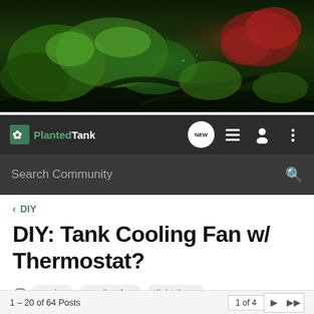[Figure (photo): Aquarium hero banner showing lush green planted tank with aquatic plants, rocks, driftwood and red plants on right side]
Planted Tank — NEW (chat bubble), list icon, user icon, menu icon
Search Community
< DIY
DIY: Tank Cooling Fan w/ Thermostat?
cooler  cooling fan  light timer
→ Jump to Latest   + Follow
1 – 20 of 64 Posts   1 of 4  ▶  ▶▶